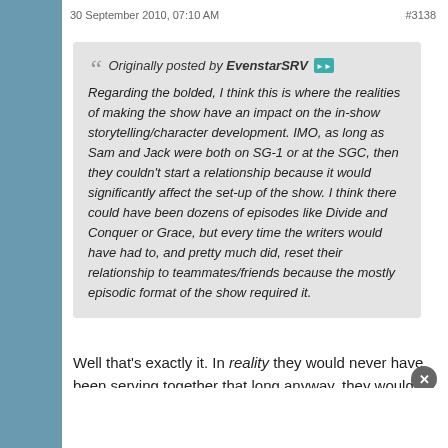30 September 2010, 07:10 AM   #3138
Originally posted by EvenstarSRV
Regarding the bolded, I think this is where the realities of making the show have an impact on the in-show storytelling/character development. IMO, as long as Sam and Jack were both on SG-1 or at the SGC, then they couldn't start a relationship because it would significantly affect the set-up of the show. I think there could have been dozens of episodes like Divide and Conquer or Grace, but every time the writers would have had to, and pretty much did, reset their relationship to teammates/friends because the mostly episodic format of the show required it.
Well that's exactly it. In reality they would never have been serving together that long anyway, they would